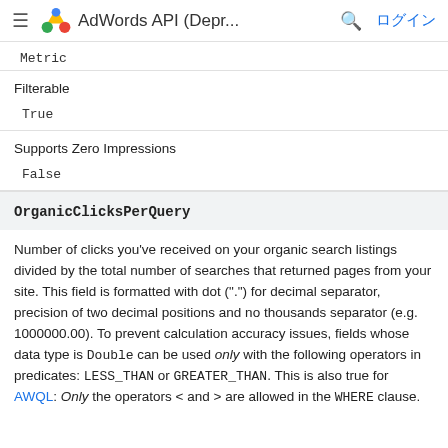AdWords API (Depr...  ログイン
Metric
Filterable
True
Supports Zero Impressions
False
OrganicClicksPerQuery
Number of clicks you've received on your organic search listings divided by the total number of searches that returned pages from your site. This field is formatted with dot (".") for decimal separator, precision of two decimal positions and no thousands separator (e.g. 1000000.00). To prevent calculation accuracy issues, fields whose data type is Double can be used only with the following operators in predicates: LESS_THAN or GREATER_THAN. This is also true for AWQL: Only the operators < and > are allowed in the WHERE clause.